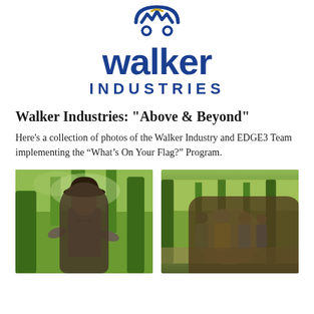[Figure (logo): Walker Industries logo with stylized 'W' icon above the text 'walker industries' in dark blue]
Walker Industries: "Above & Beyond"
Here's a collection of photos of the Walker Industry and EDGE3 Team implementing the "What's On Your Flag?" Program.
[Figure (photo): Man in a cowboy hat and grey t-shirt standing in a wooded area, gesturing with his hands]
[Figure (photo): Group of people walking on a trail through a wooded area, viewed from behind]